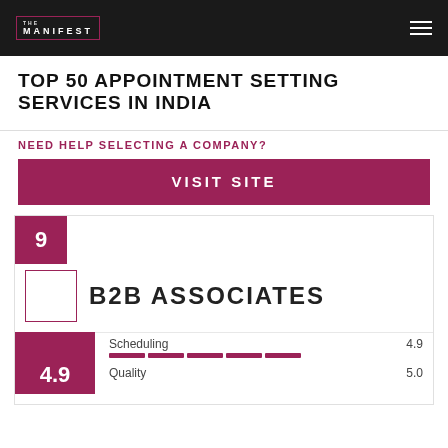THE MANIFEST
TOP 50 APPOINTMENT SETTING SERVICES IN INDIA
NEED HELP SELECTING A COMPANY?
VISIT SITE
9
B2B ASSOCIATES
Scheduling 4.9
4.9
Quality 5.0